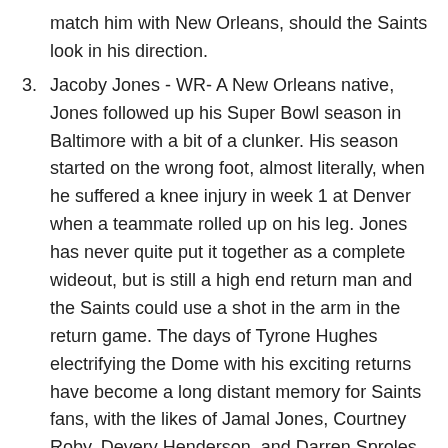match him with New Orleans, should the Saints look in his direction.
3. Jacoby Jones - WR- A New Orleans native, Jones followed up his Super Bowl season in Baltimore with a bit of a clunker. His season started on the wrong foot, almost literally, when he suffered a knee injury in week 1 at Denver when a teammate rolled up on his leg. Jones has never quite put it together as a complete wideout, but is still a high end return man and the Saints could use a shot in the arm in the return game. The days of Tyrone Hughes electrifying the Dome with his exciting returns have become a long distant memory for Saints fans, with the likes of Jamal Jones, Courtney Roby, Devery Henderson, and Darren Sproles plugging away as kick returners over the years for New Orleans, and if Jones comes at the right price, he could be an intriguing option for the Saints. The days...